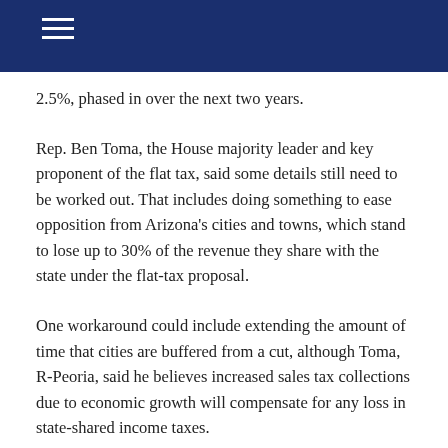2.5%, phased in over the next two years.
Rep. Ben Toma, the House majority leader and key proponent of the flat tax, said some details still need to be worked out. That includes doing something to ease opposition from Arizona's cities and towns, which stand to lose up to 30% of the revenue they share with the state under the flat-tax proposal.
One workaround could include extending the amount of time that cities are buffered from a cut, although Toma, R-Peoria, said he believes increased sales tax collections due to economic growth will compensate for any loss in state-shared income taxes.